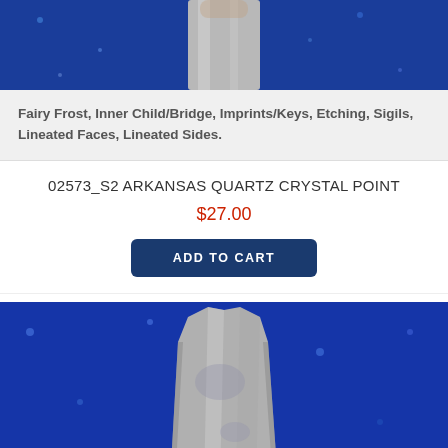[Figure (photo): Top portion of an Arkansas quartz crystal point on blue sparkly fabric background, partially cropped]
Fairy Frost, Inner Child/Bridge, Imprints/Keys, Etching, Sigils, Lineated Faces, Lineated Sides.
02573_S2 ARKANSAS QUARTZ CRYSTAL POINT
$27.00
ADD TO CART
[Figure (photo): Arkansas quartz crystal point on blue sparkly velvet fabric background, showing the full base and lower body of the crystal]